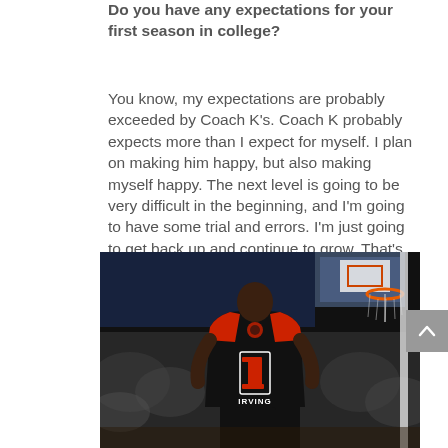Do you have any expectations for your first season in college?
You know, my expectations are probably exceeded by Coach K's. Coach K probably expects more than I expect for myself. I plan on making him happy, but also making myself happy. The next level is going to be very difficult in the beginning, and I'm going to have some trial and errors. I'm just going to get back up and continue to grow. That's what it's all about.
[Figure (photo): Basketball player wearing a black and red jersey with number 1 and the name IRVING on the back, standing on a basketball court facing away from the camera, with a basketball hoop visible in the background.]